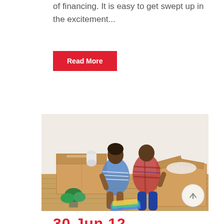of financing. It is easy to get swept up in the excitement...
Read More
[Figure (photo): A couple sitting on a wooden floor surrounded by moving boxes, looking at color swatches together in a new home.]
30 Jun 12